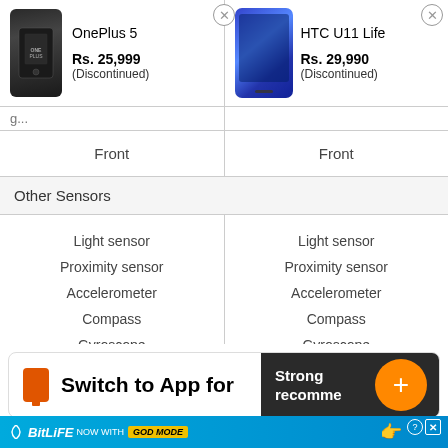| OnePlus 5 | HTC U11 Life |
| --- | --- |
| Rs. 25,999 (Discontinued) | Rs. 29,990 (Discontinued) |
| Front | Front |
| Other Sensors |  |
| Light sensor
Proximity sensor
Accelerometer
Compass
Gyroscope | Light sensor
Proximity sensor
Accelerometer
Compass
Gyroscope |
Switch to App for
Strongly recommended
[Figure (screenshot): BitLife ad banner - NOW WITH GOD MODE]